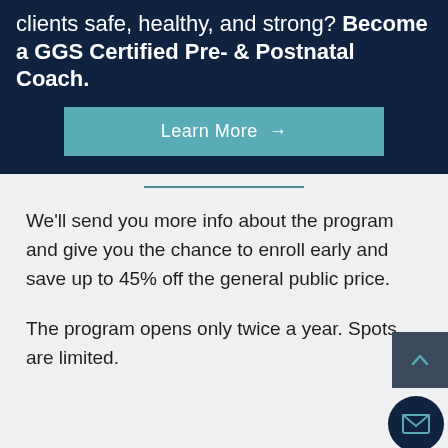clients safe, healthy, and strong? Become a GGS Certified Pre- & Postnatal Coach.
Learn More →
We'll send you more info about the program and give you the chance to enroll early and save up to 45% off the general public price.
The program opens only twice a year. Spots are limited.